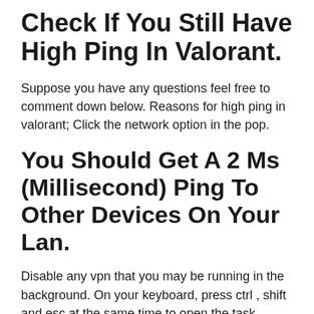Check If You Still Have High Ping In Valorant.
Suppose you have any questions feel free to comment down below. Reasons for high ping in valorant; Click the network option in the pop.
You Should Get A 2 Ms (Millisecond) Ping To Other Devices On Your Lan.
Disable any vpn that you may be running in the background. On your keyboard, press ctrl , shift and esc at the same time to open the task manager. To quickly improve the ping on